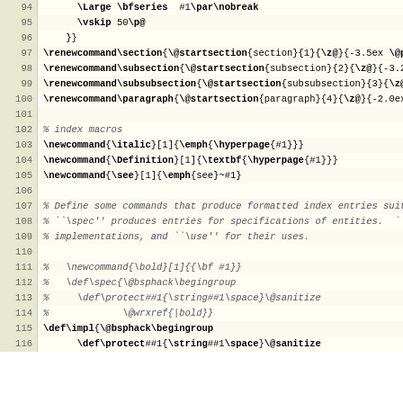Source code listing lines 94-116, LaTeX style definitions and index macros
94:     \Large \bfseries  #1\par\nobreak
95:     \vskip 50\p@
96:   }}
97: \renewcommand\section{\@startsection{section}{1}{\z@}{-3.5ex \@plus -1ex \@minus -.2ex}{1.75ex \@plus .2ex}{\normalfont\large\bfseries}}
98: \renewcommand\subsection{\@startsection{subsection}{2}{\z@}{-3.25ex \@plus -1ex \@minus -.2ex}{1.5ex \@plus .2ex}{\normalfont\normalsize\bfseries}}
99: \renewcommand\subsubsection{\@startsection{subsubsection}{3}{\z@}{-2.5ex \@plus -1ex \@minus -.2ex}{1.0ex \@plus .2ex}{\normalfont\normalsize\bfseries}}
100: \renewcommand\paragraph{\@startsection{paragraph}{4}{\z@}{-2.0ex \@plus -1ex \@minus -.2ex}{-1em}{\normalfont\normalsize\bfseries}}
101: (empty)
102: % index macros
103: \newcommand{\italic}[1]{\emph{\hyperpage{#1}}}
104: \newcommand{\Definition}[1]{\textbf{\hyperpage{#1}}}
105: \newcommand{\see}[1]{\emph{see}~#1}
106: (empty)
107: % Define some commands that produce formatted index entries suitable for cross-references.
108: % ``\spec'' produces entries for specifications of entities.  ``\impl'' produces entries for their
109: % implementations, and ``\use'' for their uses.
110: (empty)
111: %   \newcommand{\bold}[1]{{\bf #1}}
112: %   \def\spec{\@bsphack\begingroup
113: %     \def\protect##1{\string##1\space}\@sanitize
114: %             \@wrxref{|bold}}
115: \def\impl{\@bsphack\begingroup
116:     \def\protect##1{\string##1\space}\@sanitize